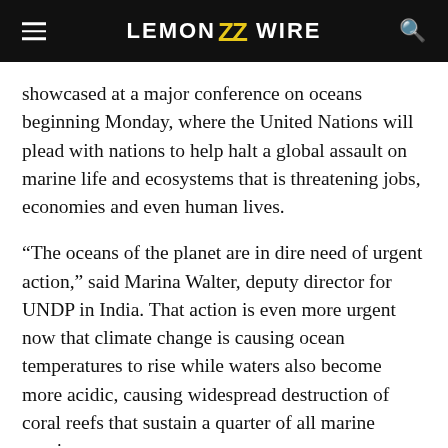LEMON Z WIRE
showcased at a major conference on oceans beginning Monday, where the United Nations will plead with nations to help halt a global assault on marine life and ecosystems that is threatening jobs, economies and even human lives.
“The oceans of the planet are in dire need of urgent action,” said Marina Walter, deputy director for UNDP in India. That action is even more urgent now that climate change is causing ocean temperatures to rise while waters also become more acidic, causing widespread destruction of coral reefs that sustain a quarter of all marine species.
But conservation efforts work best when they’re linked with local livelihoods, Walter said. “You cannot work on biodiversity or life underwater in isolation, without looking